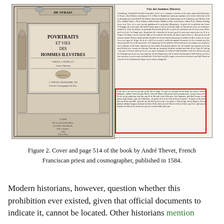[Figure (photo): Two-panel image showing the cover and page 514 of the book by André Thevet. Left panel: ornate title page with architectural frame, statues, and text 'POURTRAITS ET VIES DES HOMMES ILLUSTRES'. Right panel: a page of old French text with a red rectangle highlighting a passage, headed 'Vies des hommes Illustres'.]
Figure 2. Cover and page 514 of the book by André Thevet, French Franciscan priest and cosmographer, published in 1584.
Modern historians, however, question whether this prohibition ever existed, given that official documents to indicate it, cannot be located. Other historians mention